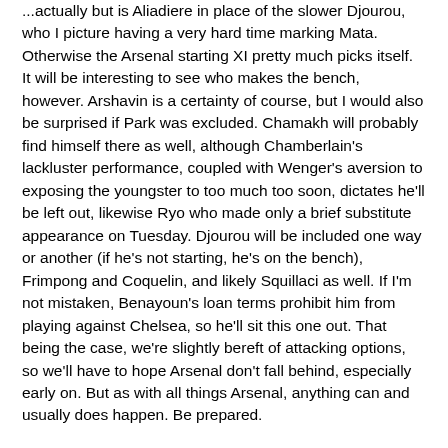...actually but is Aliadiere in place of the slower Djourou, who I picture having a very hard time marking Mata. Otherwise the Arsenal starting XI pretty much picks itself. It will be interesting to see who makes the bench, however. Arshavin is a certainty of course, but I would also be surprised if Park was excluded. Chamakh will probably find himself there as well, although Chamberlain's lackluster performance, coupled with Wenger's aversion to exposing the youngster to too much too soon, dictates he'll be left out, likewise Ryo who made only a brief substitute appearance on Tuesday. Djourou will be included one way or another (if he's not starting, he's on the bench), Frimpong and Coquelin, and likely Squillaci as well. If I'm not mistaken, Benayoun's loan terms prohibit him from playing against Chelsea, so he'll sit this one out. That being the case, we're slightly bereft of attacking options, so we'll have to hope Arsenal don't fall behind, especially early on. But as with all things Arsenal, anything can and usually does happen. Be prepared.
Finally, the AGM occurred yesterday. Press in England jumped all over the discontent shown by some of the attending shareholders, and I've seen video of two who were disappointed in the way Peter Hill-Wood handled himself and...